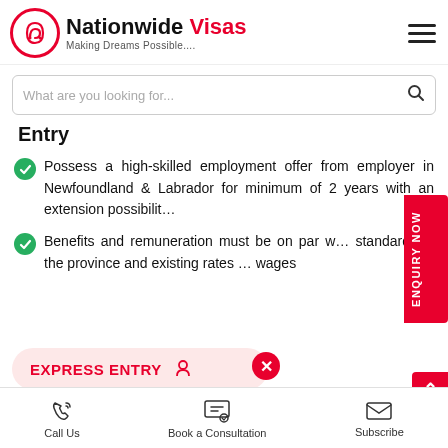[Figure (logo): Nationwide Visas logo with red circle icon and tagline 'Making Dreams Possible....']
What are you looking for...
Entry
Possess a high-skilled employment offer from employer in Newfoundland & Labrador for minimum of 2 years with an extension possibility
Benefits and remuneration must be on par with standards in the province and existing rates of wages
EXPRESS ENTRY
Call Us   Book a Consultation   Subscribe